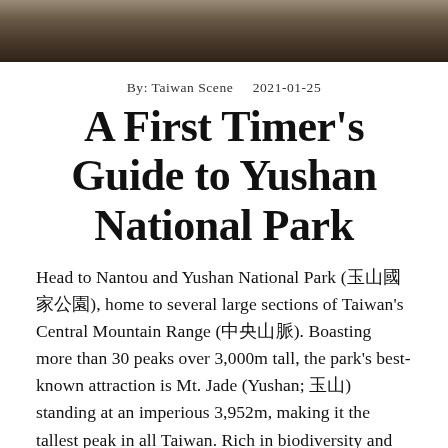[Figure (photo): Mountain landscape photo strip at top of page, showing rocky terrain in dark browns and tans]
By: Taiwan Scene    2021-01-25
A First Timer's Guide to Yushan National Park
Head to Nantou and Yushan National Park (玉山國家公園), home to several large sections of Taiwan's Central Mountain Range (中央山脈). Boasting more than 30 peaks over 3,000m tall, the park's best-known attraction is Mt. Jade (Yushan; 玉山) standing at an imperious 3,952m, making it the tallest peak in all Taiwan. Rich in biodiversity and also known for its eco-tourism